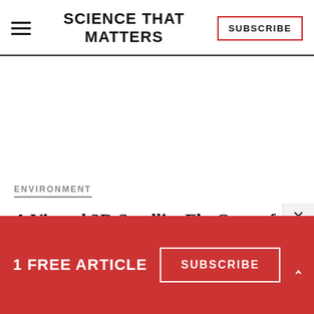SCIENCE THAT MATTERS | SUBSCRIBE
ENVIRONMENT
A Virtual 3D Satellite Fly-Over of
1 FREE ARTICLE
SUBSCRIBE